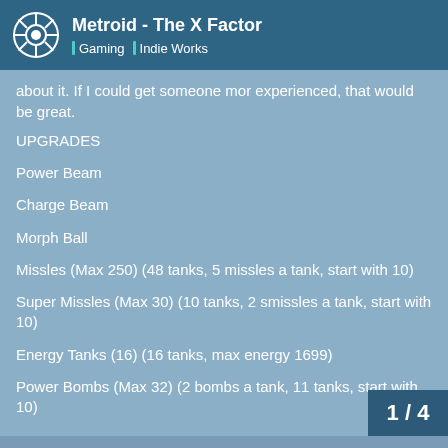Metroid - The X Factor | Gaming | Indie Works
about it. If I could get someone mor experienced, that would be great.
UPGRADES
Power Beam
Charge Beam
Morph Ball
Missles (Max 250) (48 tanks, 5 missles a tank, start with 10)
Super Missles (Max 30) (10 tanks, 2 smissles a tank, start with 10)
Energy Tanks (16) (16 tanks, max energy 1699)
Power Bombs (Max 32) (2 bombs a tank, 11 tanks, start with 10)
1 / 4